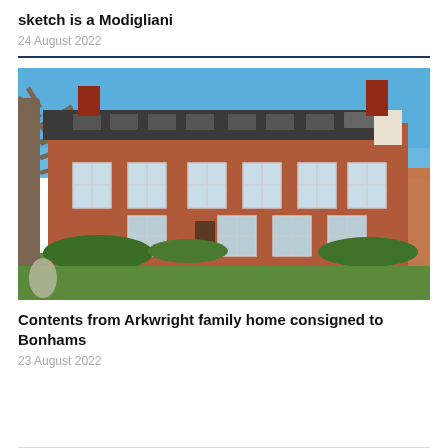sketch is a Modigliani
24 August 2022
[Figure (photo): Exterior photograph of a large red brick Georgian-style country house with multiple sash windows across three storeys, a dark slate roof with skylights, surrounded by lawns and trees under a blue sky.]
Contents from Arkwright family home consigned to Bonhams
23 August 2022